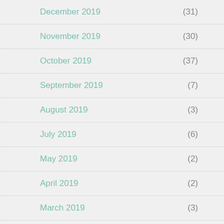December 2019 (31)
November 2019 (30)
October 2019 (37)
September 2019 (7)
August 2019 (3)
July 2019 (6)
May 2019 (2)
April 2019 (2)
March 2019 (3)
February 2019 (4)